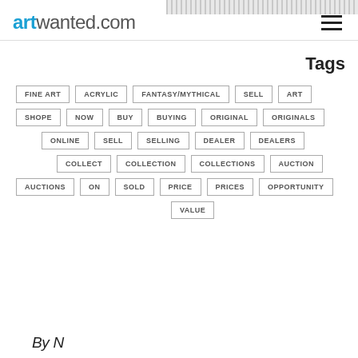[Figure (other): Decorative banner/pattern strip at top right]
artwanted.com
Tags
FINE ART
ACRYLIC
FANTASY/MYTHICAL
SELL
ART
SHOPE
NOW
BUY
BUYING
ORIGINAL
ORIGINALS
ONLINE
SELL
SELLING
DEALER
DEALERS
COLLECT
COLLECTION
COLLECTIONS
AUCTION
AUCTIONS
ON
SOLD
PRICE
PRICES
OPPORTUNITY
VALUE